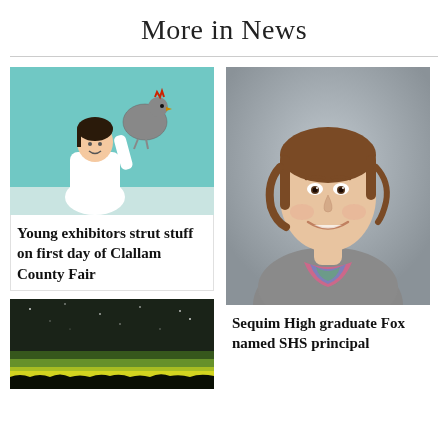More in News
[Figure (photo): Child in white shirt holding a chicken/hen at Clallam County Fair, green wall background]
Young exhibitors strut stuff on first day of Clallam County Fair
[Figure (photo): Portrait photo of a woman with brown hair wearing a gray hoodie and colorful shirt, gray background - school portrait style]
[Figure (photo): Night sky landscape photo with green and yellow horizon glow]
Sequim High graduate Fox named SHS principal